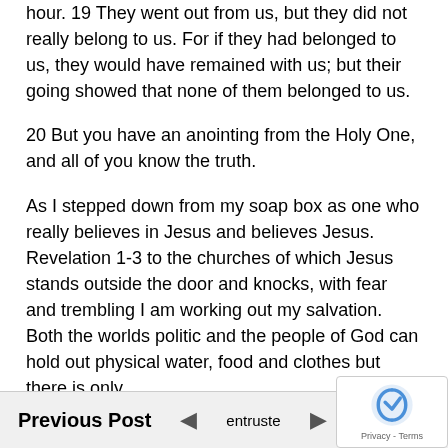hour. 19 They went out from us, but they did not really belong to us. For if they had belonged to us, they would have remained with us; but their going showed that none of them belonged to us.
20 But you have an anointing from the Holy One, and all of you know the truth.
As I stepped down from my soap box as one who really believes in Jesus and believes Jesus. Revelation 1-3 to the churches of which Jesus stands outside the door and knocks, with fear and trembling I am working out my salvation. Both the worlds politic and the people of God can hold out physical water, food and clothes but there is only
Previous Post   entruste   Next Post